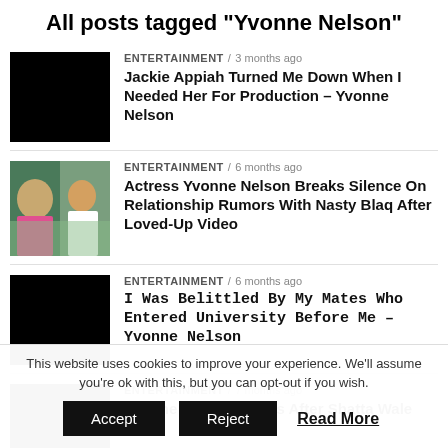All posts tagged "Yvonne Nelson"
ENTERTAINMENT / 3 months ago
Jackie Appiah Turned Me Down When I Needed Her For Production – Yvonne Nelson
ENTERTAINMENT / 6 months ago
Actress Yvonne Nelson Breaks Silence On Relationship Rumors With Nasty Blaq After Loved-Up Video
ENTERTAINMENT / 6 months ago
I Was Belittled By My Mates Who Entered University Before Me – Yvonne Nelson
ENTERTAINMENT / 7 months ago
Yvonne Nelson Reacts After Shatta Wale
This website uses cookies to improve your experience. We'll assume you're ok with this, but you can opt-out if you wish.